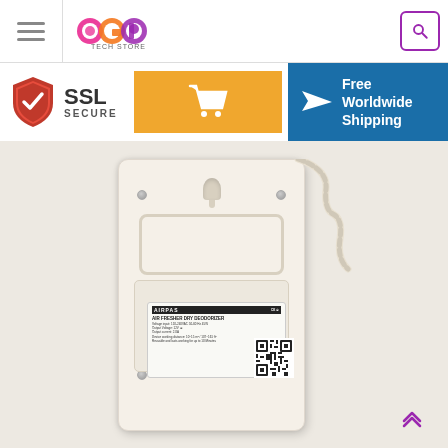AGP Tech Store – navigation header with hamburger menu, logo, and search icon
SSL SECURE
Free Worldwide Shipping
[Figure (photo): Back view of a white wall-mounted air fresher dry deodorizer device showing mounting bracket, keyhole slot, screws, product label with QR code, and a coiled white cable coming from the top-right.]